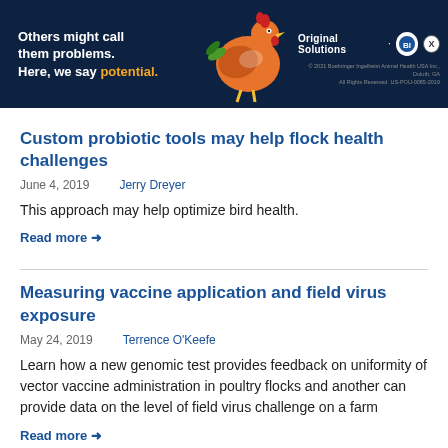[Figure (illustration): Boehringer Ingelheim advertisement banner with dark blue background, stylized colorful chicken illustration, text reading 'Others might call them problems. Here, we say potential.' and branding 'Original Solutions' with logo and close button.]
Custom probiotic tools may help flock health challenges
June 4, 2019    Jerry Dreyer
This approach may help optimize bird health.
Read more →
Measuring vaccine application and field virus exposure
May 24, 2019    Terrence O'Keefe
Learn how a new genomic test provides feedback on uniformity of vector vaccine administration in poultry flocks and another can provide data on the level of field virus challenge on a farm
Read more →